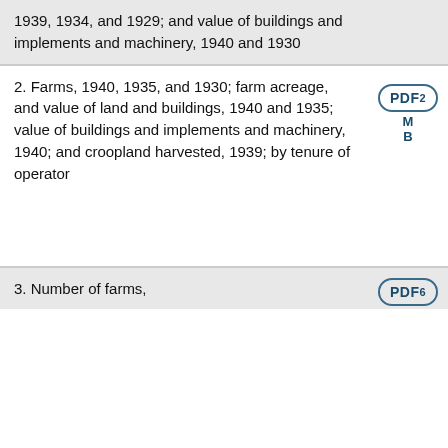1939, 1934, and 1929; and value of buildings and implements and machinery, 1940 and 1930
2. Farms, 1940, 1935, and 1930; farm acreage, and value of land and buildings, 1940 and 1935; value of buildings and implements and machinery, 1940; and croopland harvested, 1939; by tenure of operator
[Figure (other): PDF badge icon with '2' superscript, labeled 'M B']
3. Number of farms,